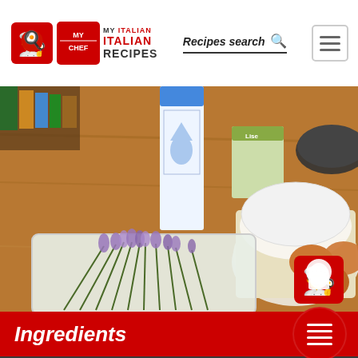My Italian Recipes
[Figure (photo): Kitchen counter with lavender sprigs in a plastic container, a container of Brie de France cheese, milk carton, and brown eggs in the background, along with a dark bowl]
Ingredients
View the step by step
Put the milk on to heat in a saucepan